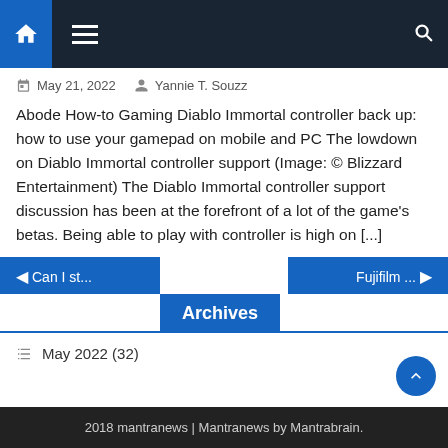Navigation bar with home, menu, and search icons
May 21, 2022   Yannie T. Souzz
Abode How-to Gaming Diablo Immortal controller back up: how to use your gamepad on mobile and PC The lowdown on Diablo Immortal controller support (Image: © Blizzard Entertainment) The Diablo Immortal controller support discussion has been at the forefront of a lot of the game's betas. Being able to play with controller is high on [...]
◄ Can I st...    Fujifilm ... ►
Archives
May 2022 (32)
2018 mantranews | Mantranews by Mantrabrain.